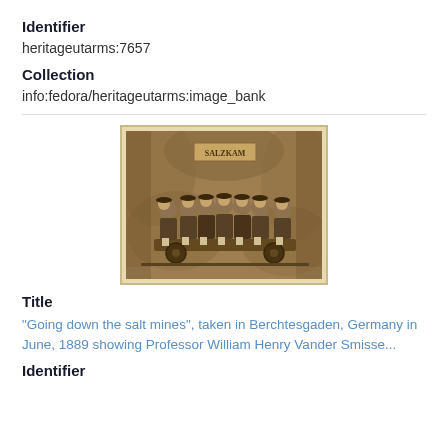Identifier
heritageutarms:7657
Collection
info:fedora/heritageutarms:image_bank
[Figure (photo): Sepia-toned historical photograph showing a group of people seated on a mine cart or rail vehicle underground in what appears to be a salt mine. A sign is visible above them. The photo has a cardboard cabinet card style border.]
Title
“Going down the salt mines”, taken in Berchtesgaden, Germany in June, 1889 showing Professor William Henry Vander Smisse...
Identifier